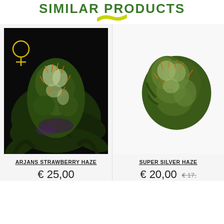SIMILAR PRODUCTS
[Figure (photo): Close-up photo of a cannabis bud (Arjans Strawberry Haze) with a female symbol (♀) in the top left corner, dark background]
ARJANS STRAWBERRY HAZE
€ 25,00
[Figure (photo): Photo of a cannabis bud (Super Silver Haze) on a white background, partially cropped on the right]
SUPER SILVER HAZE
€ 20,00 €17,...